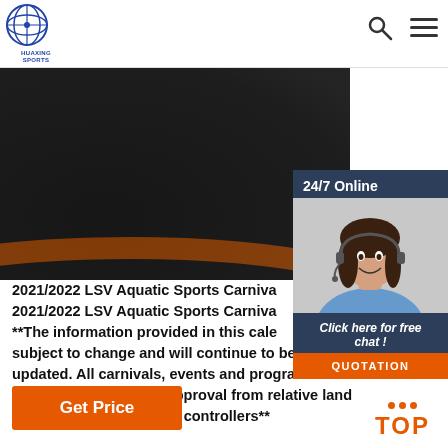[Figure (logo): Huaxing Sports logo — circular emblem with globe graphic and text HUAXING SPORTS below]
[Figure (photo): Close-up product photo of a dark textured surface with orange/red edge — likely sports mat or equipment]
[Figure (photo): 24/7 Online chat popup with photo of smiling female customer service agent wearing headset, dark blue background, 'Click here for free chat!' text and orange QUOTATION button]
2021/2022 LSV Aquatic Sports Carnival 2021/2022 LSV Aquatic Sports Carnival **The information provided in this calendar is subject to change and will continue to be updated. All carnivals, events and programs are subject to final permit approval from relative land managers and waterway controllers**
[Figure (other): Get Price orange button at bottom left]
[Figure (other): TOP back-to-top button with orange dots at bottom right]